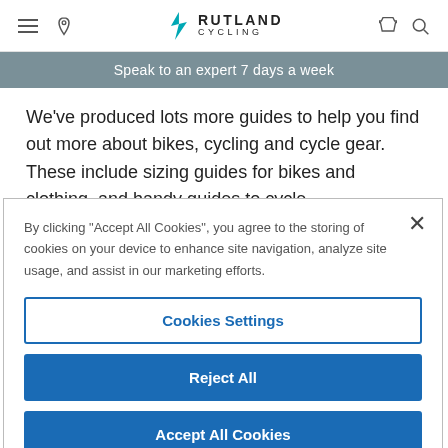Rutland Cycling — navigation header with hamburger menu, location icon, logo, cart, and search icons
Speak to an expert 7 days a week
We've produced lots more guides to help you find out more about bikes, cycling and cycle gear. These include sizing guides for bikes and clothing, and handy guides to cycle
By clicking "Accept All Cookies", you agree to the storing of cookies on your device to enhance site navigation, analyze site usage, and assist in our marketing efforts.
Cookies Settings
Reject All
Accept All Cookies